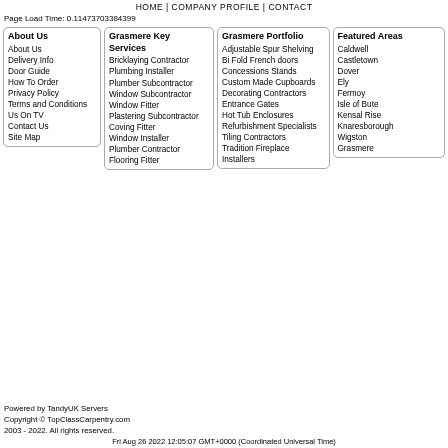HOME | COMPANY PROFILE | CONTACT
Page Load Time: 0.11473703384399
About Us
About Us
Delivery Info
Door Guide
How To Order
Privacy Policy
Terms and Conditions
Us On TV
Contact Us
Site Map
Grasmere Key Services
Bricklaying Contractor
Plumbing Installer
Plumber Subcontractor
Window Subcontractor
Window Fitter
Plastering Subcontractor
Coving Fitter
Window Installer
Plumber Contractor
Flooring Fitter
Grasmere Portfolio
Adjustable Spur Shelving
Bi Fold French doors
Concessions Stands
Custom Made Cupboards
Decorating Contractors
Entrance Gates
Hot Tub Enclosures
Refurbishment Specialists
Tiling Contractors
Tradition Fireplace Installers
Featured Areas
Caldwell
Castletown
Dover
Ely
Fermoy
Isle of Bute
Kensal Rise
Knaresborough
Wigston
Grasmere
Powered by TandyUK Servers
Copyright © TopClassCarpentry.com
2003 - 2022. All rights reserved.
Fri Aug 26 2022 12:05:07 GMT+0000 (Coordinated Universal Time)